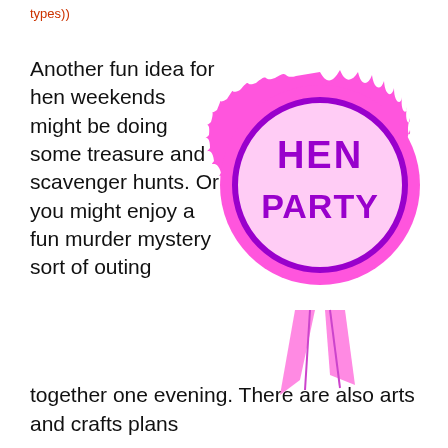types))
Another fun idea for hen weekends might be doing some treasure and scavenger hunts. Or you might enjoy a fun murder mystery sort of outing together one evening. There are also arts and crafts plans
[Figure (illustration): Pink rosette/badge with purple border and text reading HEN PARTY, with two ribbon tails hanging down, decorative spiky outer ring in hot pink]